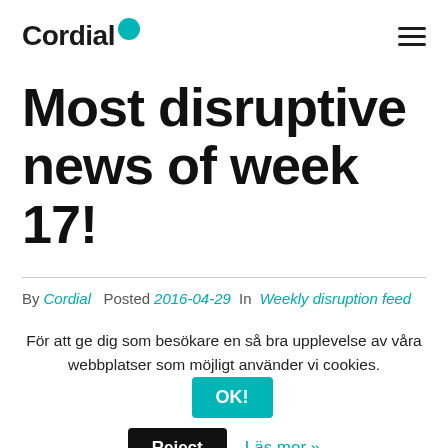Cordial
Most disruptive news of week 17!
By Cordial  Posted 2016-04-29  In Weekly disruption feed
För att ge dig som besökare en så bra upplevelse av våra webbplatser som möjligt använder vi cookies.
OK!
Reject  Läs mer »